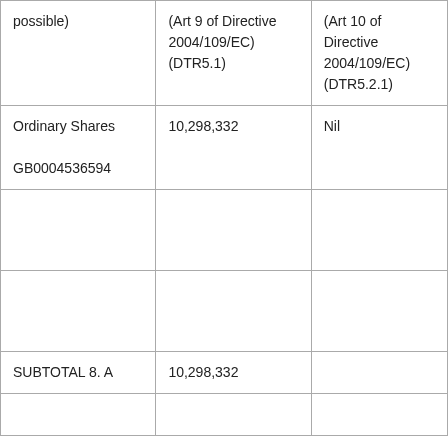| possible) | (Art 9 of Directive 2004/109/EC) (DTR5.1) | (Art 10 of Directive 2004/109/EC) (DTR5.2.1) |
| Ordinary Shares

GB0004536594 | 10,298,332 | Nil |
|  |  |  |
|  |  |  |
| SUBTOTAL 8. A | 10,298,332 |  |
|  |  |  |